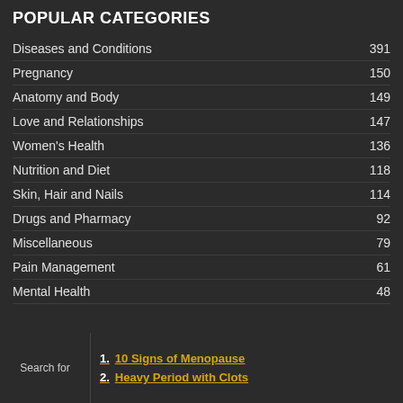POPULAR CATEGORIES
Diseases and Conditions   391
Pregnancy   150
Anatomy and Body   149
Love and Relationships   147
Women's Health   136
Nutrition and Diet   118
Skin, Hair and Nails   114
Drugs and Pharmacy   92
Miscellaneous   79
Pain Management   61
Mental Health   48
Search for
1. 10 Signs of Menopause
2. Heavy Period with Clots